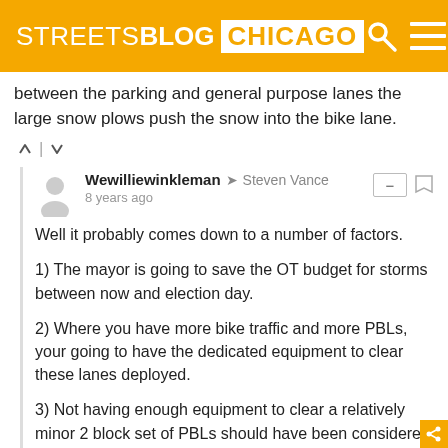STREETSBLOG CHICAGO
between the parking and general purpose lanes the large snow plows push the snow into the bike lane.
Wewilliewinkleman → Steven Vance
8 years ago

Well it probably comes down to a number of factors.

1) The mayor is going to save the OT budget for storms between now and election day.

2) Where you have more bike traffic and more PBLs, your going to have the dedicated equipment to clear these lanes deployed.

3) Not having enough equipment to clear a relatively minor 2 block set of PBLs should have been considered before installing them.

4) Streets with now a single lane of traffic and a bike